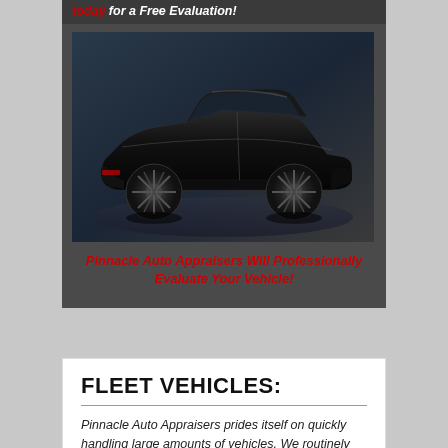today for a Free Evaluation!
[Figure (photo): Black luxury sports car (Aston Martin style) on dark studio background, side profile view]
Pinnacle Auto Appraisers Will Professionally Evaluate Your Vehicle!
FLEET VEHICLES:
Pinnacle Auto Appraisers prides itself on quickly handling large amounts of vehicles. We routinely handle fleets for: vans, trucking, limousine, shuttle, buses, SUV, corporate, taxi, dealership, clubs, rental, and delivery companies. We handle large national chains, small family businesses, and car club